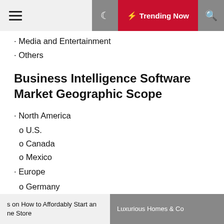☰ ☾ ⚡ Trending Now 🔍
· Media and Entertainment
· Others
Business Intelligence Software Market Geographic Scope
· North America
o U.S.
o Canada
o Mexico
· Europe
o Germany
o UK
o France
o Rest of Europe
· Asia Pacific
o China
s on How to Affordably Start an ne Store   Luxurious Homes & Co